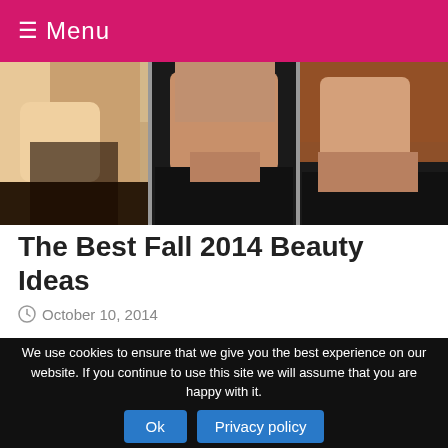≡ Menu
[Figure (photo): Three side-by-side photos of women, cropped to show faces and upper bodies, hair and fashion visible, dark backgrounds]
The Best Fall 2014 Beauty Ideas
October 10, 2014
This fall season, hair, makeup and nail trends are all relied on retro elements and muted shades. Here are the best 7 beauty trends plucked straight off the runways you must try this fall. The Cat-Eye …
Read More
We use cookies to ensure that we give you the best experience on our website. If you continue to use this site we will assume that you are happy with it.